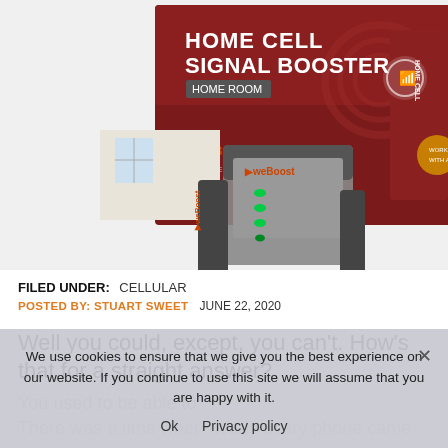[Figure (photo): Product photo of a weBoost Home Cell Signal Booster (Home Room) device and its retail packaging box, which is dark red with product name text. The device itself is grey and black with green LED indicator lights.]
FILED UNDER:   CELLULAR
POSTED BY: STUART SWEET   JUNE 22, 2020
Well you could, except, you can't. How's that for a straight answer?
You used to be able to
There was a time when nearly every phone came
We use cookies to ensure that we give you the best experience on our website. If you continue to use this site we will assume that you are happy with it.
Ok   Privacy policy